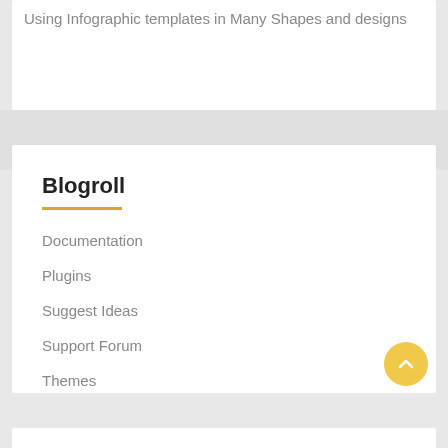Using Infographic templates in Many Shapes and designs
Blogroll
Documentation
Plugins
Suggest Ideas
Support Forum
Themes
WordPress Blog
WordPress Planet